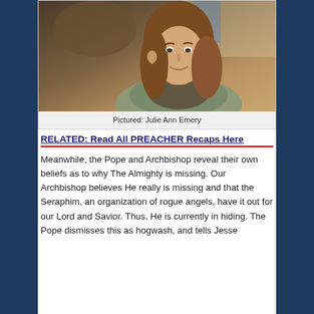[Figure (photo): Photo of a woman with long brown hair, smiling, in an indoor setting with warm lighting]
Pictured: Julie Ann Emery
RELATED: Read All PREACHER Recaps Here
Meanwhile, the Pope and Archbishop reveal their own beliefs as to why The Almighty is missing. Our Archbishop believes He really is missing and that the Seraphim, an organization of rogue angels, have it out for our Lord and Savior. Thus, He is currently in hiding. The Pope dismisses this as hogwash, and tells Jesse